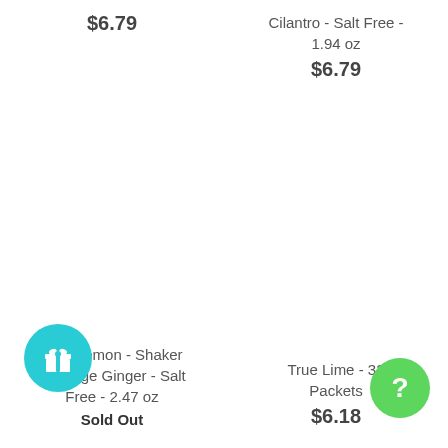$6.79
Cilantro - Salt Free - 1.94 oz
$6.79
True Lemon - Shaker - Orange Ginger - Salt Free - 2.47 oz
Sold Out
True Lime - 32 Packets
$6.18
[Figure (illustration): Teal circular gift/rewards button icon]
[Figure (illustration): Green circular help/question mark button icon]